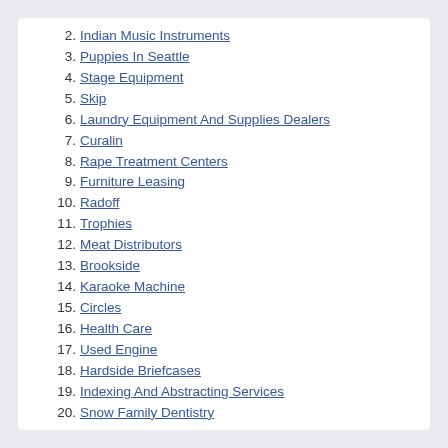2. Indian Music Instruments
3. Puppies In Seattle
4. Stage Equipment
5. Skip
6. Laundry Equipment And Supplies Dealers
7. Curalin
8. Rape Treatment Centers
9. Furniture Leasing
10. Radoff
11. Trophies
12. Meat Distributors
13. Brookside
14. Karaoke Machine
15. Circles
16. Health Care
17. Used Engine
18. Hardside Briefcases
19. Indexing And Abstracting Services
20. Snow Family Dentistry